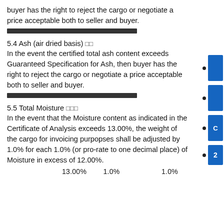buyer has the right to reject the cargo or negotiate a price acceptable both to seller and buyer.
[redacted]
5.4 Ash (air dried basis) [CJK characters]
In the event the certified total ash content exceeds Guaranteed Specification for Ash, then buyer has the right to reject the cargo or negotiate a price acceptable both to seller and buyer.
[redacted]
5.5 Total Moisture [CJK characters]
In the event that the Moisture content as indicated in the Certificate of Analysis exceeds 13.00%, the weight of the cargo for invoicing purpopses shall be adjusted by 1.0% for each 1.0% (or pro-rate to one decimal place) of Moisture in excess of 12.00%.
13.00%        1.0%                    1.0%